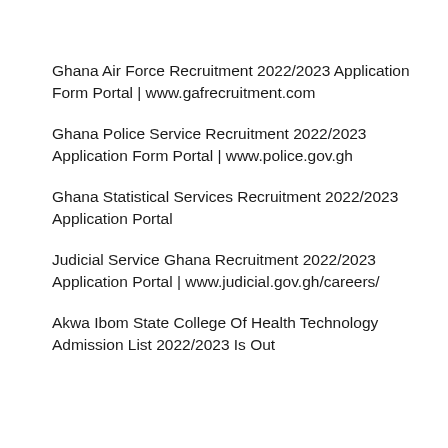Ghana Air Force Recruitment 2022/2023 Application Form Portal | www.gafrecruitment.com
Ghana Police Service Recruitment 2022/2023 Application Form Portal | www.police.gov.gh
Ghana Statistical Services Recruitment 2022/2023 Application Portal
Judicial Service Ghana Recruitment 2022/2023 Application Portal | www.judicial.gov.gh/careers/
Akwa Ibom State College Of Health Technology Admission List 2022/2023 Is Out